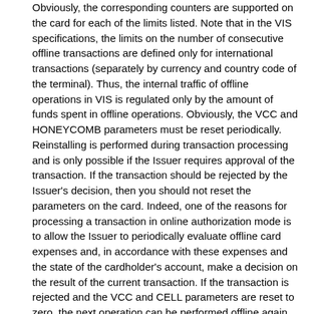Obviously, the corresponding counters are supported on the card for each of the limits listed. Note that in the VIS specifications, the limits on the number of consecutive offline transactions are defined only for international transactions (separately by currency and country code of the terminal). Thus, the internal traffic of offline operations in VIS is regulated only by the amount of funds spent in offline operations. Obviously, the VCC and HONEYCOMB parameters must be reset periodically. Reinstalling is performed during transaction processing and is only possible if the Issuer requires approval of the transaction. If the transaction should be rejected by the Issuer's decision, then you should not reset the parameters on the card. Indeed, one of the reasons for processing a transaction in online authorization mode is to allow the Issuer to periodically evaluate offline card expenses and, in accordance with these expenses and the state of the cardholder's account, make a decision on the result of the current transaction. If the transaction is rejected and the VCC and CELL parameters are reset to zero, the next operation can be performed offline again. Thus, an unscrupulous cardholder has a good way of fraud: initiate an expensive purchase (as a result, an authorization request is sent with a large transaction size), deliberately receiving a refusal of authorization from the Issuer, but zeroing the VCC and CELL card counters. At the same time, the next time such a cardholder will be able to successfully perform an operation for a small amount in offline authorization mode.